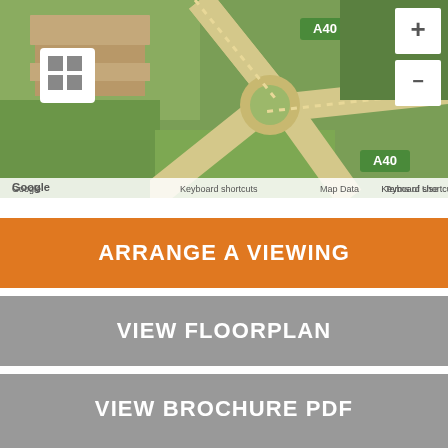[Figure (map): Google Maps satellite view showing A40 road roundabout near Denham Giant Car Boot Sale, with aerial view of roads and fields. Map controls visible including zoom in/out buttons and grid icon. Bottom bar shows 'Keyboard shortcuts', 'Map Data', 'Terms of Use'. Google logo visible bottom left.]
ARRANGE A VIEWING
VIEW FLOORPLAN
VIEW BROCHURE PDF
WATCH VIDEO